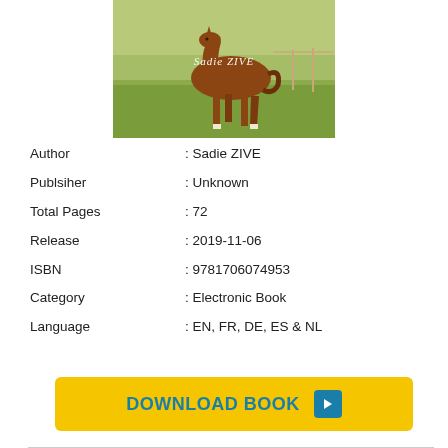[Figure (photo): Photo of a brown horse walking in a green field with text 'Sadie ZIVE' overlaid in white script.]
Author : Sadie ZIVE
Publsiher : Unknown
Total Pages : 72
Release : 2019-11-06
ISBN : 9781706074953
Category : Electronic Book
Language : EN, FR, DE, ES & NL
DOWNLOAD BOOK